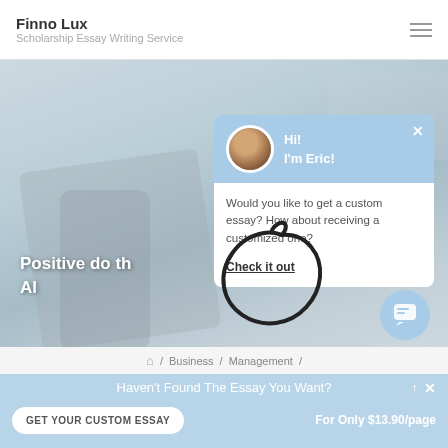Finno Lux
Scholarship Essay Writing Service
[Figure (screenshot): Website screenshot showing hero section with blurred background of person using phone, overlaid chat popup from 'Eric', and bottom CTA bar.]
Hi!
I'm Eric!
Would you like to get a custom essay? How about receiving a customized one?
Check it out
Positive do th...
Al...
🏠 / Business / Management /
Haven't Found The Essay You Want?
GET YOUR CUSTOM ESSAY
For Only $13.90/page